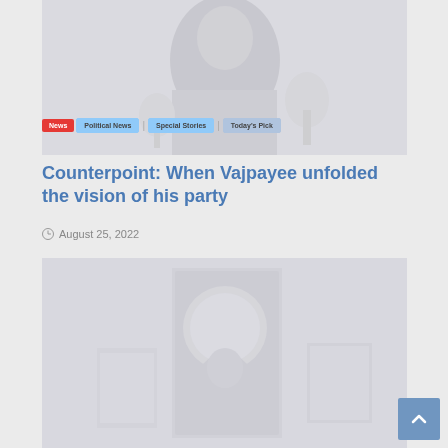[Figure (photo): A person speaking at a podium or press conference, with microphones visible, image appears faded/light.]
News | Political News | Special Stories | Today's Pick
Counterpoint: When Vajpayee unfolded the vision of his party
August 25, 2022
[Figure (photo): A person reading or looking at something, possibly at a book or document, image appears faded/light.]